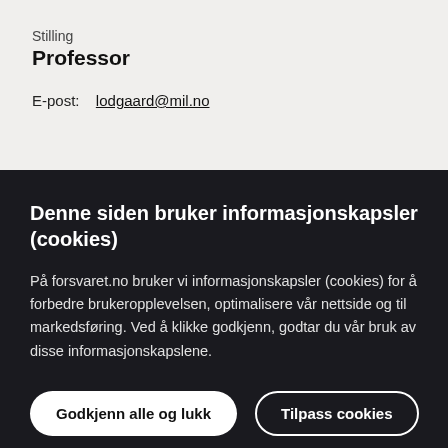Stilling
Professor
E-post:  lodgaard@mil.no
Denne siden bruker informasjonskapsler (cookies)
På forsvaret.no bruker vi informasjonskapsler (cookies) for å forbedre brukeropplevelsen, optimalisere vår nettside og til markedsføring. Ved å klikke godkjenn, godtar du vår bruk av disse informasjonskapslene.
Godkjenn alle og lukk
Tilpass cookies